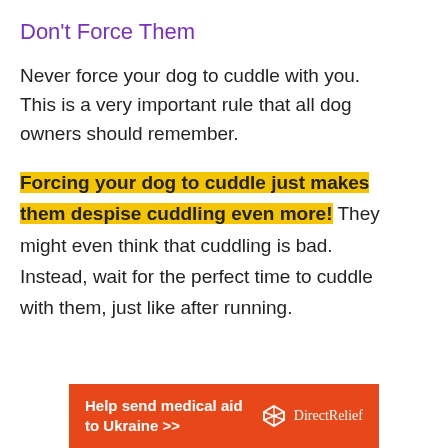Don't Force Them
Never force your dog to cuddle with you. This is a very important rule that all dog owners should remember.
Forcing your dog to cuddle just makes them despise cuddling even more! They might even think that cuddling is bad. Instead, wait for the perfect time to cuddle with them, just like after running.
[Figure (other): Orange advertisement banner for Direct Relief: 'Help send medical aid to Ukraine >>' with Direct Relief logo]